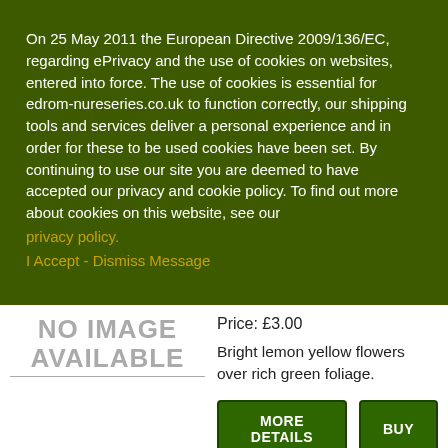On 25 May 2011 the European Directive 2009/136/EC, regarding ePrivacy and the use of cookies on websites, entered into force. The use of cookies is essential for edrom-nureseries.co.uk to function correctly, our shipping tools and services deliver a personal experience and in order for these to be used cookies have been set. By continuing to use our site you are deemed to have accepted our privacy and cookie policy. To find out more about cookies on this website, see our privacy policy.
I Accept - Dismiss Message
Price: £3.00
Bright lemon yellow flowers over rich green foliage.
MORE DETAILS   BUY
[Figure (photo): Partial colorful flower image at bottom left]